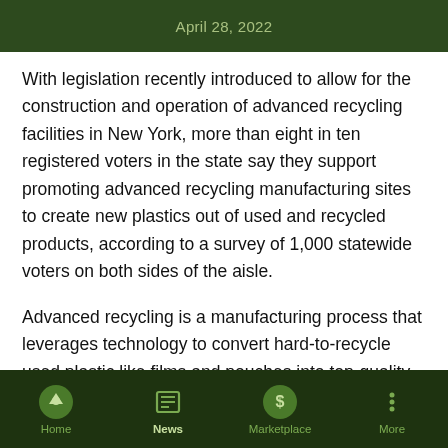April 28, 2022
With legislation recently introduced to allow for the construction and operation of advanced recycling facilities in New York, more than eight in ten registered voters in the state say they support promoting advanced recycling manufacturing sites to create new plastics out of used and recycled products, according to a survey of 1,000 statewide voters on both sides of the aisle.
Advanced recycling is a manufacturing process that leverages technology to convert hard-to-recycle used plastic like films and pouches into top-quality, new plastic. Through these cutting-
Home  News  Marketplace  More